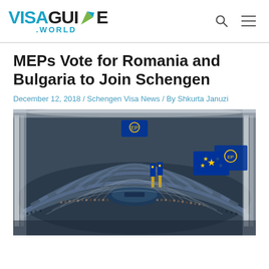VISAGUIDE.WORLD
MEPs Vote for Romania and Bulgaria to Join Schengen
December 12, 2018 / Schengen Visa News / By Shkurta Januzi
[Figure (photo): Aerial interior view of the European Parliament hemicycle in Strasbourg, showing the curved rows of blue seats filled with Members of European Parliament, the central speaker podium, EU flags, and the distinctive curved white walls of the chamber.]